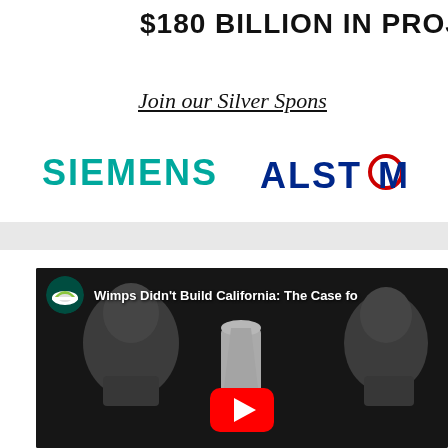$180 BILLION IN PROJ
Join our Silver Spons
[Figure (logo): SIEMENS logo in teal/green color]
[Figure (logo): ALSTOM logo in dark blue with red O]
[Figure (screenshot): YouTube video thumbnail titled 'Wimps Didn't Build California: The Case fo' showing two men in black and white with YouTube play button overlay and channel icon]